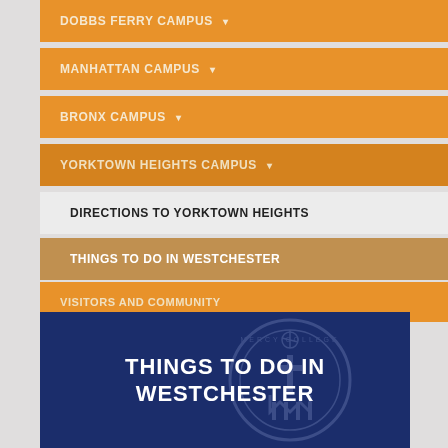DOBBS FERRY CAMPUS ▾
MANHATTAN CAMPUS ▾
BRONX CAMPUS ▾
YORKTOWN HEIGHTS CAMPUS ▾
DIRECTIONS TO YORKTOWN HEIGHTS
THINGS TO DO IN WESTCHESTER
VISITORS AND COMMUNITY
THINGS TO DO IN WESTCHESTER